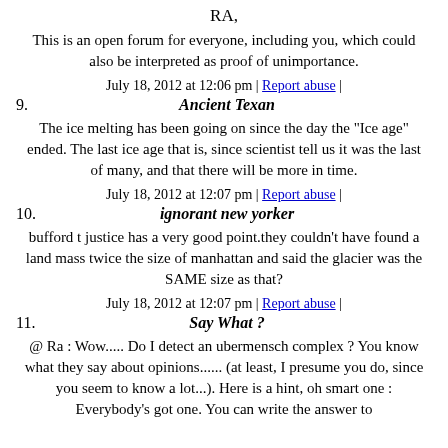RA,
This is an open forum for everyone, including you, which could also be interpreted as proof of unimportance.
July 18, 2012 at 12:06 pm | Report abuse |
9. Ancient Texan
The ice melting has been going on since the day the "Ice age" ended. The last ice age that is, since scientist tell us it was the last of many, and that there will be more in time.
July 18, 2012 at 12:07 pm | Report abuse |
10. ignorant new yorker
bufford t justice has a very good point.they couldn't have found a land mass twice the size of manhattan and said the glacier was the SAME size as that?
July 18, 2012 at 12:07 pm | Report abuse |
11. Say What ?
@ Ra : Wow..... Do I detect an ubermensch complex ? You know what they say about opinions...... (at least, I presume you do, since you seem to know a lot...). Here is a hint, oh smart one : Everybody's got one. You can write the answer to